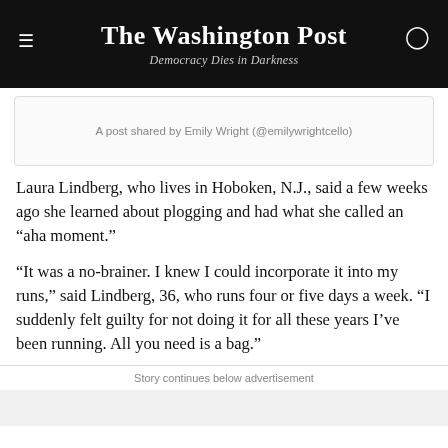The Washington Post
Democracy Dies in Darkness
A post shared by Emily Wright (@emilywrightcello)
Laura Lindberg, who lives in Hoboken, N.J., said a few weeks ago she learned about plogging and had what she called an “aha moment.”
“It was a no-brainer. I knew I could incorporate it into my runs,” said Lindberg, 36, who runs four or five days a week. “I suddenly felt guilty for not doing it for all these years I’ve been running. All you need is a bag.”
Story continues below advertisement